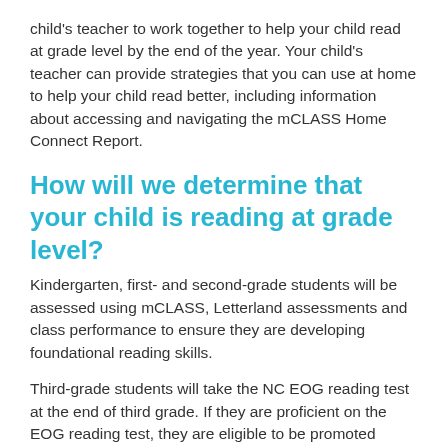child's teacher to work together to help your child read at grade level by the end of the year. Your child's teacher can provide strategies that you can use at home to help your child read better, including information about accessing and navigating the mCLASS Home Connect Report.
How will we determine that your child is reading at grade level?
Kindergarten, first- and second-grade students will be assessed using mCLASS, Letterland assessments and class performance to ensure they are developing foundational reading skills.
Third-grade students will take the NC EOG reading test at the end of third grade. If they are proficient on the EOG reading test, they are eligible to be promoted